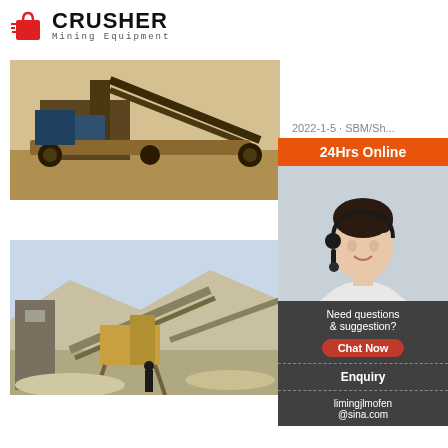[Figure (logo): Crusher Mining Equipment logo with shopping cart icon]
[Figure (photo): Industrial mining crusher machinery on a sandy site]
2022-1-5 · SBM/Sh...
Read M...
[Figure (photo): Industrial stone crushing plant with conveyor belts and a worker]
jaw cru... parts |...
2022-1-3...
Read...
[Figure (infographic): 24Hrs Online customer service overlay panel with agent photo, Chat Now button, Enquiry link, and limingjlmofen@sina.com email]